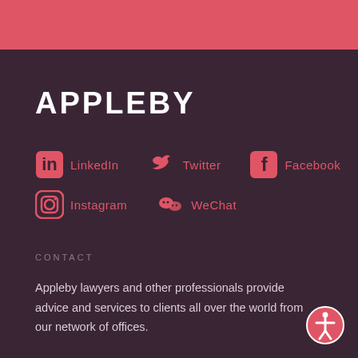[Figure (logo): Appleby law firm logo — word APPLEBY in bold white uppercase letters]
LinkedIn
Twitter
Facebook
Instagram
WeChat
CONTACT
Appleby lawyers and other professionals provide advice and services to clients all over the world from our network of offices.